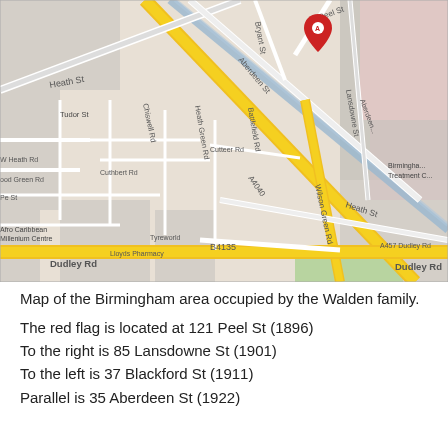[Figure (map): Google Maps screenshot showing the Birmingham area with streets including Heath St, Dudley Rd, Aberdeen St, Lansdowne St, Peel St, Wilson Green Rd, B4135, A4040, A457. A red location marker (A) is placed on Peel St.]
Map of the Birmingham area occupied by the Walden family.
The red flag is located at 121 Peel St (1896)
To the right is 85 Lansdowne St (1901)
To the left is 37 Blackford St (1911)
Parallel is 35 Aberdeen St (1922)